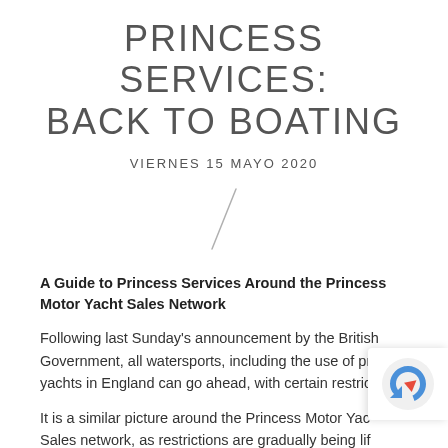PRINCESS SERVICES: BACK TO BOATING
VIERNES 15 MAYO 2020
[Figure (illustration): A thin diagonal slash/divider line in light gray]
A Guide to Princess Services Around the Princess Motor Yacht Sales Network
Following last Sunday's announcement by the British Government, all watersports, including the use of private yachts in England can go ahead, with certain restrictions.
It is a similar picture around the Princess Motor Yacht Sales network, as restrictions are gradually being lifted, although each country is at different stages. Here is a